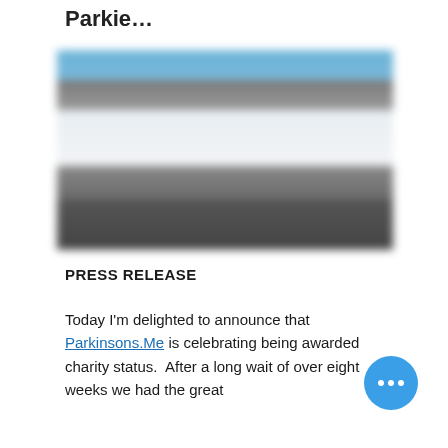Parkie…
[Figure (photo): A group of people standing outdoors holding a large white banner with Parkinsons.Me branding. The image is blurred/out of focus.]
PRESS RELEASE
Today I'm delighted to announce that Parkinsons.Me is celebrating being awarded charity status.  After a long wait of over eight weeks we had the great